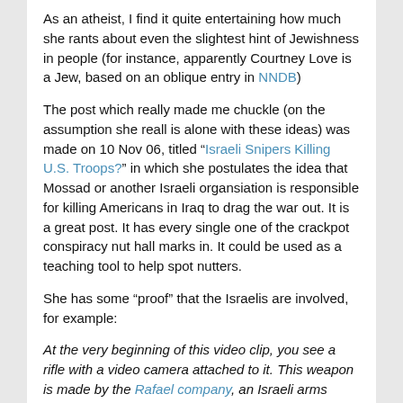As an atheist, I find it quite entertaining how much she rants about even the slightest hint of Jewishness in people (for instance, apparently Courtney Love is a Jew, based on an oblique entry in NNDB)
The post which really made me chuckle (on the assumption she reall is alone with these ideas) was made on 10 Nov 06, titled “Israeli Snipers Killing U.S. Troops?” in which she postulates the idea that Mossad or another Israeli organsiation is responsible for killing Americans in Iraq to drag the war out. It is a great post. It has every single one of the crackpot conspiracy nut hall marks in. It could be used as a teaching tool to help spot nutters.
She has some “proof” that the Israelis are involved, for example:
At the very beginning of this video clip, you see a rifle with a video camera attached to it. This weapon is made by the Rafael company, an Israeli arms manufacturer, that also makes IEDs.